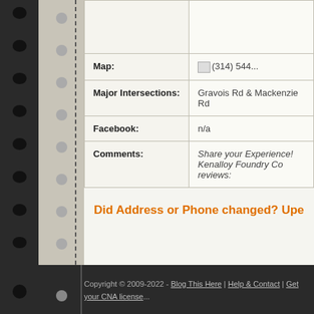| Field | Value |
| --- | --- |
|  |  |
| Map: | (314) 544... |
| Major Intersections: | Gravois Rd & Mackenzie Rd |
| Facebook: | n/a |
| Comments: | Share your Experience! Kenalloy Foundry Co reviews: |
Did Address or Phone changed? Upe...
Copyright © 2009-2022 - Blog This Here | Help & Contact | Get your CNA license...